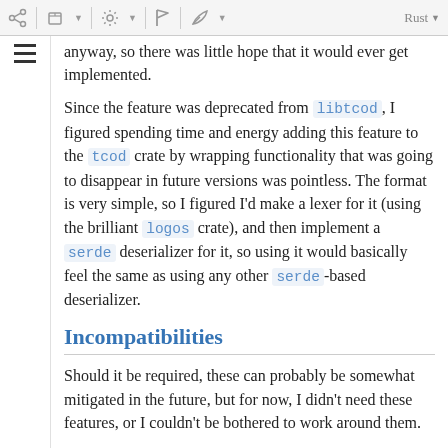[toolbar with icons and Rust dropdown]
anyway, so there was little hope that it would ever get implemented.
Since the feature was deprecated from libtcod, I figured spending time and energy adding this feature to the tcod crate by wrapping functionality that was going to disappear in future versions was pointless. The format is very simple, so I figured I'd make a lexer for it (using the brilliant logos crate), and then implement a serde deserializer for it, so using it would basically feel the same as using any other serde-based deserializer.
Incompatibilities
Should it be required, these can probably be somewhat mitigated in the future, but for now, I didn't need these features, or I couldn't be bothered to work around them.